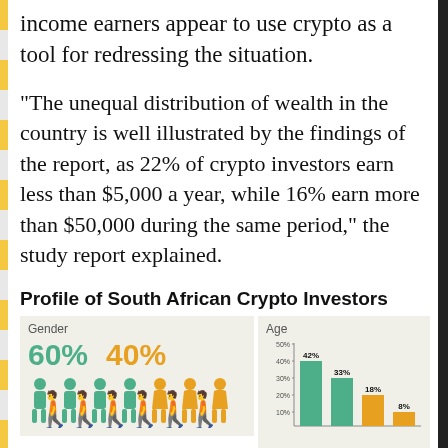income earners appear to use crypto as a tool for redressing the situation.
“The unequal distribution of wealth in the country is well illustrated by the findings of the report, as 22% of crypto investors earn less than $5,000 a year, while 16% earn more than $50,000 during the same period,” the study report explained.
Profile of South African Crypto Investors
[Figure (infographic): Gender breakdown of South African crypto investors: 60% male (green icons), 40% female (orange icons), shown with person icons]
[Figure (bar-chart): Age]